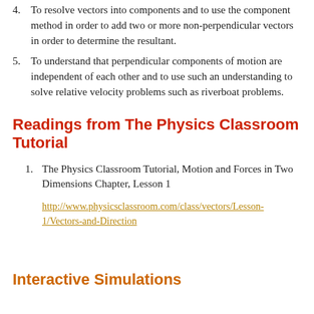4. To resolve vectors into components and to use the component method in order to add two or more non-perpendicular vectors in order to determine the resultant.
5. To understand that perpendicular components of motion are independent of each other and to use such an understanding to solve relative velocity problems such as riverboat problems.
Readings from The Physics Classroom Tutorial
1. The Physics Classroom Tutorial, Motion and Forces in Two Dimensions Chapter, Lesson 1
http://www.physicsclassroom.com/class/vectors/Lesson-1/Vectors-and-Direction
Interactive Simulations